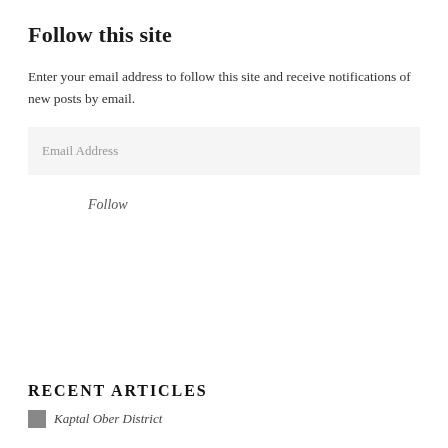Follow this site
Enter your email address to follow this site and receive notifications of new posts by email.
Email Address
Follow
RECENT ARTICLES
Kaptal Ober District